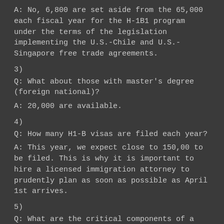A: No, 6,800 are set aside from the 65,000 each fiscal year for the H-1B1 program under the terms of the legislation implementing the U.S.-Chile and U.S.-Singapore free trade agreements.
3)
Q: What about those with master's degree (foreign national)?
A: 20,000 are available.
4)
Q: How many H1-B visas are filed each year?
A: This year, we expect close to 150,00 to be filed. This is why it is important to hire a licensed immigration attorney to prudently plan as soon as possible as April 1st arrives.
5)
Q: What are the critical components of a H1-B petition you should have filed with your immigration attorney?